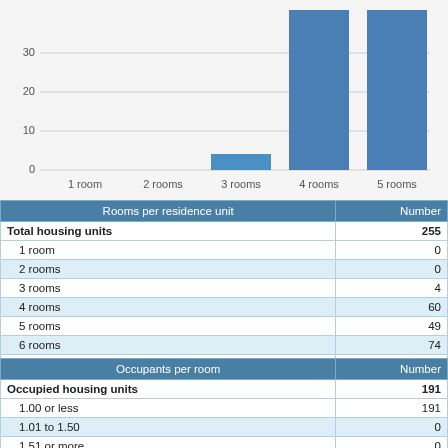[Figure (bar-chart): Rooms per residence unit]
| Rooms per residence unit | Number |
| --- | --- |
| Total housing units | 255 |
| 1 room | 0 |
| 2 rooms | 0 |
| 3 rooms | 4 |
| 4 rooms | 60 |
| 5 rooms | 49 |
| 6 rooms | 74 |
| 7 rooms | 37 |
| 8 rooms | 20 |
| 9 or more rooms | 11 |
| Median (rooms) | 5.7 |
| Occupants per room | Number |
| --- | --- |
| Occupied housing units | 191 |
| 1.00 or less | 191 |
| 1.01 to 1.50 | 0 |
| 1.51 or more | 0 |